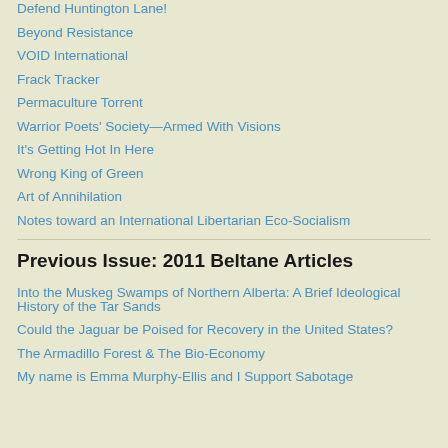Defend Huntington Lane!
Beyond Resistance
VOID International
Frack Tracker
Permaculture Torrent
Warrior Poets' Society—Armed With Visions
It's Getting Hot In Here
Wrong King of Green
Art of Annihilation
Notes toward an International Libertarian Eco-Socialism
Previous Issue: 2011 Beltane Articles
Into the Muskeg Swamps of Northern Alberta: A Brief Ideological History of the Tar Sands
Could the Jaguar be Poised for Recovery in the United States?
The Armadillo Forest & The Bio-Economy
My name is Emma Murphy-Ellis and I Support Sabotage